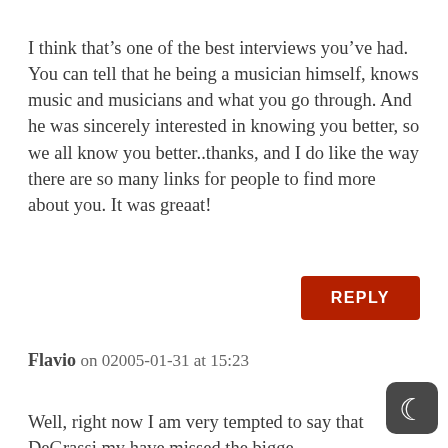I think that's one of the best interviews you've had. You can tell that he being a musician himself, knows music and musicians and what you go through. And he was sincerely interested in knowing you better, so we all know you better..thanks, and I do like the way there are so many links for people to find more about you. It was greaat!
REPLY
Flavio on 02005-01-31 at 15:23
Well, right now I am very tempted to say that DeGrassi my have missed the biggest opportunity of his life by being kind enough to send OL a letter asking him to